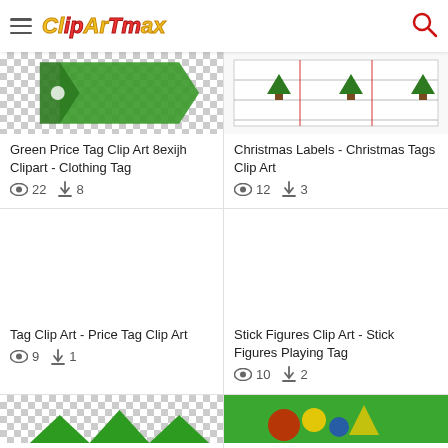ClipartMax
[Figure (illustration): Green price tag clip art thumbnail with checkered transparency background]
Green Price Tag Clip Art 8exijh Clipart - Clothing Tag
👁 22  ⬇ 8
[Figure (illustration): Christmas labels thumbnail showing trees on white background]
Christmas Labels - Christmas Tags Clip Art
👁 12  ⬇ 3
[Figure (illustration): Tag clip art - price tag clip art, blank white image]
Tag Clip Art - Price Tag Clip Art
👁 9  ⬇ 1
[Figure (illustration): Stick figures playing tag clip art, blank white image]
Stick Figures Clip Art - Stick Figures Playing Tag
👁 10  ⬇ 2
[Figure (illustration): Bottom left partial thumbnail with checkered background and green shapes]
[Figure (illustration): Bottom right partial thumbnail with colorful green background scene]